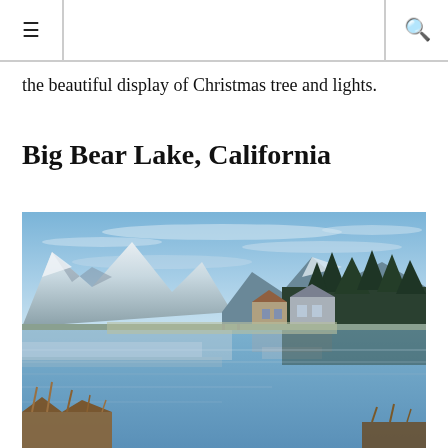≡  🔍
the beautiful display of Christmas tree and lights.
Big Bear Lake, California
[Figure (photo): Scenic winter photo of Big Bear Lake, California, showing a calm lake reflecting snow-capped mountains and pine trees on the right, with lakeside houses and brown winter shrubs in the foreground under a blue sky with light clouds.]